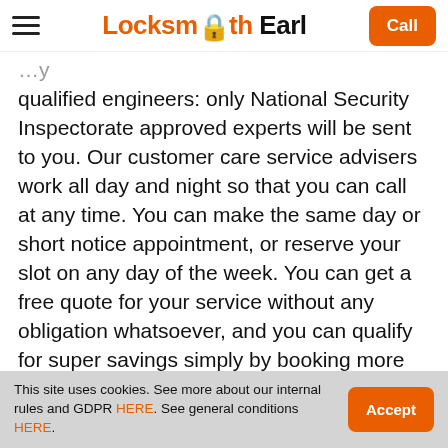Locksmith Earl — Call
qualified engineers: only National Security Inspectorate approved experts will be sent to you. Our customer care service advisers work all day and night so that you can call at any time. You can make the same day or short notice appointment, or reserve your slot on any day of the week. You can get a free quote for your service without any obligation whatsoever, and you can qualify for super savings simply by booking more than one service at a time!
020 3404 1580
This site uses cookies. See more about our internal rules and GDPR HERE. See general conditions HERE.